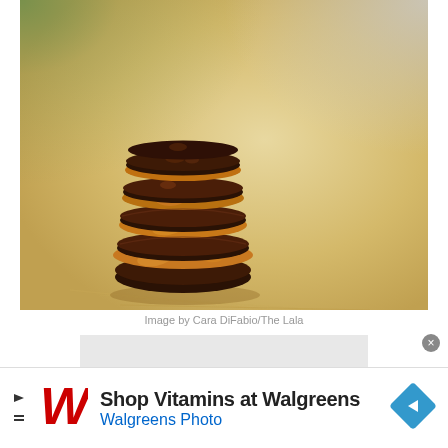[Figure (photo): Stack of chocolate peanut butter cups on a wooden cutting board, viewed from the side showing multiple layers of dark chocolate and peanut butter filling]
Image by Cara DiFabio/The Lala
[Figure (other): Gray advertisement placeholder rectangle]
[Figure (other): Walgreens advertisement banner: Shop Vitamins at Walgreens / Walgreens Photo, with Walgreens red W logo and navigation arrow icon]